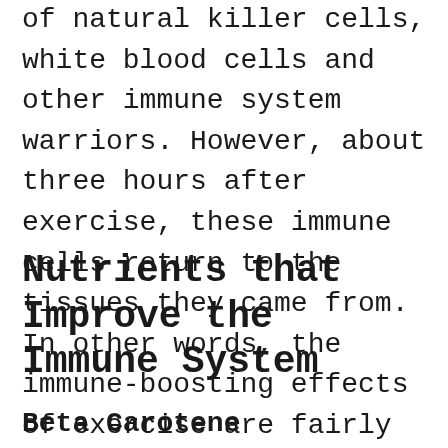of natural killer cells, white blood cells and other immune system warriors. However, about three hours after exercise, these immune cells return to the tissues they came from. In other words, the immune-boosting effects of exercise are fairly short-lived. Therefore, it is important to exercise regularly.
Nutrients that Improve the Immune System
Beta Carotene